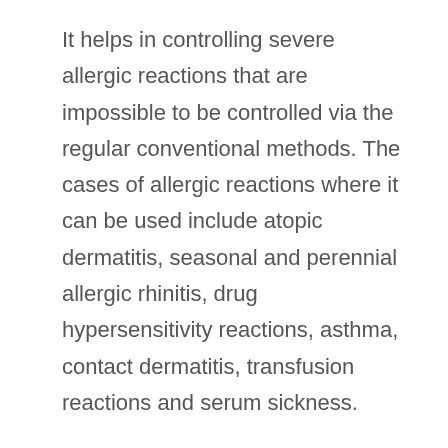It helps in controlling severe allergic reactions that are impossible to be controlled via the regular conventional methods. The cases of allergic reactions where it can be used include atopic dermatitis, seasonal and perennial allergic rhinitis, drug hypersensitivity reactions, asthma, contact dermatitis, transfusion reactions and serum sickness.
2. Dermatological Diseases